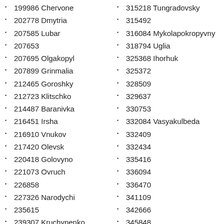199986 Chervone
202778 Dmytria
207585 Lubar
207653
207695 Olgakopyl
207899 Grinmalia
212465 Goroshky
212723 Klitschko
214487 Baranivka
216451 Irsha
216910 Vnukov
217420 Olevsk
220418 Golovyno
221073 Ovruch
226858
227326 Narodychi
235615
239307 Kruchynenko
240381 Emilchyne
241192 Pulyny
241538 Chudniv
243204 Kubanchoria
315218 Tungradovsky
315492
316084 Mykolapokropyvny
318794 Uglia
325368 Ihorhuk
325372
328509
329637
330753
332084 Vasyakulbeda
332409
332434
335416
336094
336470
341109
342666
345848
348239 Societadante
352167
352654
354252
355683